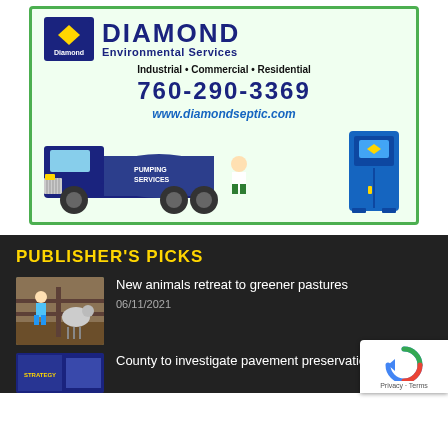[Figure (illustration): Diamond Environmental Services advertisement with logo, phone number 760-290-3369, website www.diamondseptic.com, tagline 'Industrial • Commercial • Residential', truck with pumping services illustration and portable toilet image. Green border.]
PUBLISHER'S PICKS
[Figure (photo): Photo of a child interacting with a farm animal (sheep) through a fence]
New animals retreat to greener pastures
06/11/2021
[Figure (screenshot): Thumbnail image with strategy-related content]
County to investigate pavement preservation